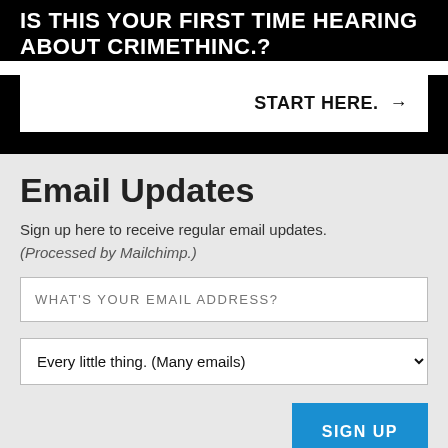IS THIS YOUR FIRST TIME HEARING ABOUT CRIMETHINC.?
START HERE. →
Email Updates
Sign up here to receive regular email updates. (Processed by Mailchimp.)
WHAT'S YOUR EMAIL ADDRESS?
Every little thing. (Many emails)
SIGN UP
Find Us Elsewhere
Keep up with our activities on the following additional platforms